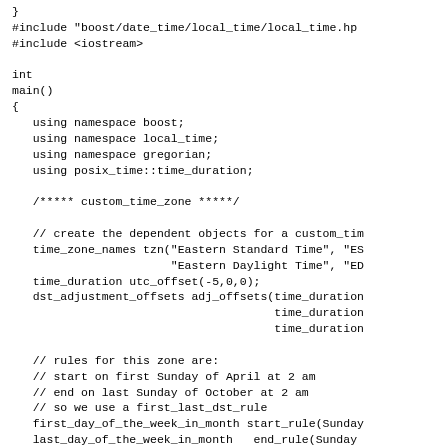}
#include "boost/date_time/local_time/local_time.hp
#include <iostream>

int
main()
{
   using namespace boost;
   using namespace local_time;
   using namespace gregorian;
   using posix_time::time_duration;

   /***** custom_time_zone *****/

   // create the dependent objects for a custom_tim
   time_zone_names tzn("Eastern Standard Time", "ES
                       "Eastern Daylight Time", "ED
   time_duration utc_offset(-5,0,0);
   dst_adjustment_offsets adj_offsets(time_duration
                                      time_duration
                                      time_duration

   // rules for this zone are:
   // start on first Sunday of April at 2 am
   // end on last Sunday of October at 2 am
   // so we use a first_last_dst_rule
   first_day_of_the_week_in_month start_rule(Sunday
   last_day_of_the_week_in_month   end_rule(Sunday
   shared_ptr<dst_calc_rule> nyc_rules(new first_la

   // create more dependent objects for a non-dst c
   time_zone_names tzn2("Mountain Standard Time", "
                        "", ""); // no dst means en